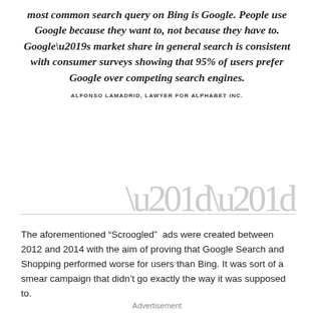most common search query on Bing is Google. People use Google because they want to, not because they have to. Google’s market share in general search is consistent with consumer surveys showing that 95% of users prefer Google over competing search engines.
ALFONSO LAMADRID, LAWYER FOR ALPHABET INC.
The aforementioned “Scroogled” ads were created between 2012 and 2014 with the aim of proving that Google Search and Shopping performed worse for users than Bing. It was sort of a smear campaign that didn’t go exactly the way it was supposed to.
Advertisement